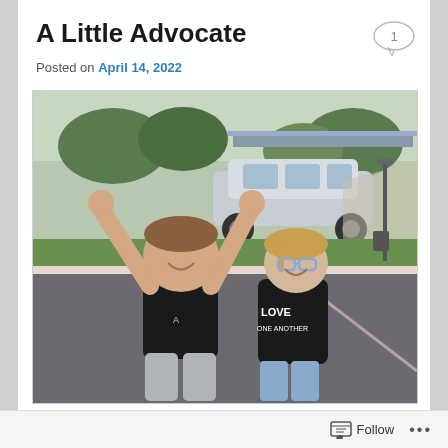A Little Advocate
Posted on April 14, 2022
[Figure (photo): Two children outdoors in a parking lot area. A boy in a black t-shirt with arms raised joyfully, and a girl wearing blue glasses and a black t-shirt that reads 'LOVE ONE ANOTHER'. Trees, shrubs, and a parked silver minivan are visible in the background.]
Follow  •••